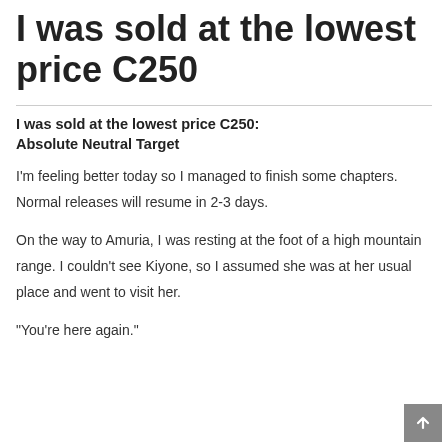I was sold at the lowest price C250
I was sold at the lowest price C250: Absolute Neutral Target
I'm feeling better today so I managed to finish some chapters. Normal releases will resume in 2-3 days.
On the way to Amuria, I was resting at the foot of a high mountain range. I couldn't see Kiyone, so I assumed she was at her usual place and went to visit her.
“You’re here again.”